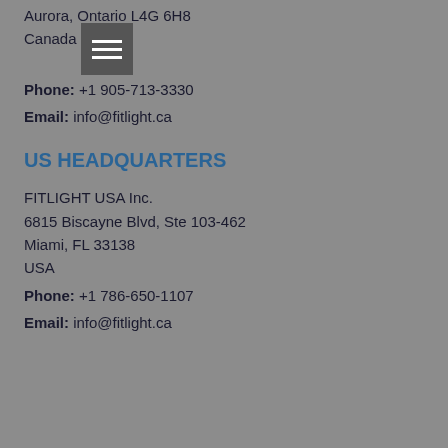Aurora, Ontario L4G 6H8
Canada
Phone: +1 905-713-3330
Email: info@fitlight.ca
US HEADQUARTERS
FITLIGHT USA Inc.
6815 Biscayne Blvd, Ste 103-462
Miami, FL 33138
USA
Phone: +1 786-650-1107
Email: info@fitlight.ca